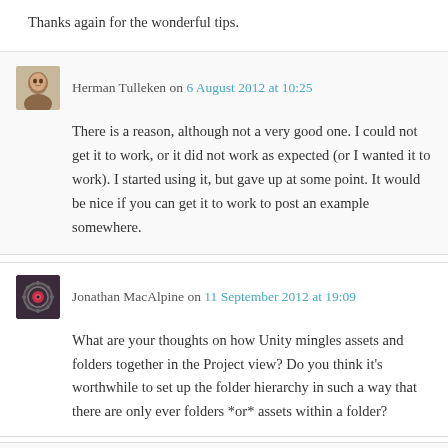Thanks again for the wonderful tips.
Herman Tulleken on 6 August 2012 at 10:25
There is a reason, although not a very good one. I could not get it to work, or it did not work as expected (or I wanted it to work). I started using it, but gave up at some point. It would be nice if you can get it to work to post an example somewhere.
Jonathan MacAlpine on 11 September 2012 at 19:09
What are your thoughts on how Unity mingles assets and folders together in the Project view? Do you think it's worthwhile to set up the folder hierarchy in such a way that there are only ever folders *or* assets within a folder?
Herman Tulleken on 15 September 2012 at 13:04